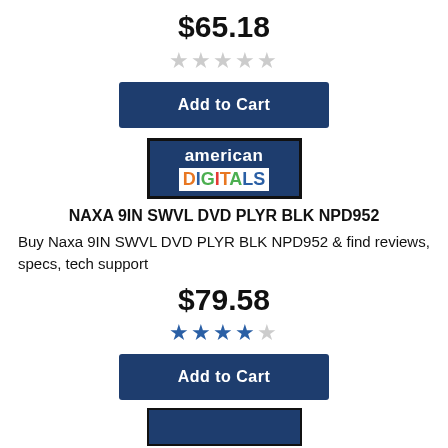$65.18
[Figure (other): 5 empty stars rating]
[Figure (other): Add to Cart button, dark navy blue]
[Figure (logo): American Digitals logo: dark blue background with 'american' in white and 'DIGITALS' in multicolor letters on white strip]
NAXA 9IN SWVL DVD PLYR BLK NPD952
Buy Naxa 9IN SWVL DVD PLYR BLK NPD952 & find reviews, specs, tech support
$79.58
[Figure (other): 4 filled stars and 1 empty star rating]
[Figure (other): Add to Cart button, dark navy blue]
[Figure (other): Partial dark navy blue image at bottom of page]